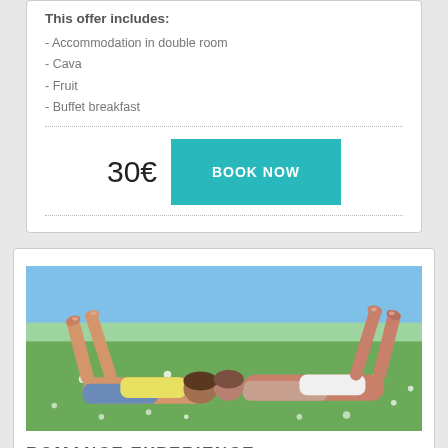This offer includes:
- Accommodation in double room
- Cava
- Fruit
- Buffet breakfast
30€
BOOK NOW
[Figure (photo): Couple lying in a flower meadow on a sunny day, viewed from the knees down with feet raised in the air, outdoors with blue sky background]
ROMANCE EXPERIENCE